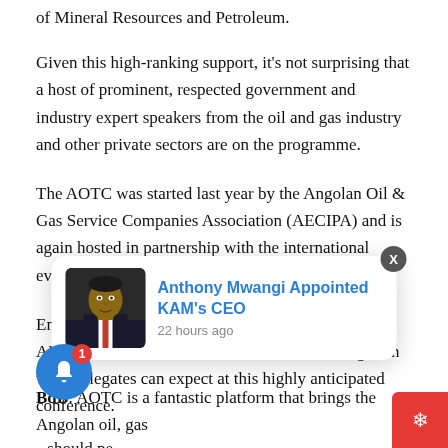of Mineral Resources and Petroleum.
Given this high-ranking support, it's not surprising that a host of prominent, respected government and industry expert speakers from the oil and gas industry and other private sectors are on the programme.
The AOTC was started last year by the Angolan Oil & Gas Service Companies Association (AECIPA) and is again hosted in partnership with the international events organiser GEP.
Engineer Bráulio de Brito, the President of the AECIPA and Chairman of AOTC, shed some light on what delegates can expect at this highly anticipated conference.
should pe
[Figure (screenshot): Notification popup showing a photo of Anthony Mwangi with title 'Anthony Mwangi Appointed KAM's CEO' and timestamp '22 hours ago']
BdB: AOTC is a fantastic platform that brings the Angolan oil, gas